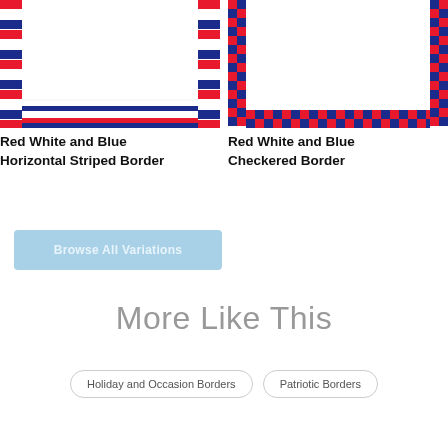[Figure (illustration): Preview of Red White and Blue Horizontal Striped Border showing horizontal red, white, and navy blue stripes on left, right, and bottom edges of a rectangular border frame]
[Figure (illustration): Preview of Red White and Blue Checkered Border showing a red and blue checkerboard pattern along left, right, and bottom edges of a rectangular border frame]
Red White and Blue Horizontal Striped Border
Red White and Blue Checkered Border
Browse All Variations
More Like This
Holiday and Occasion Borders
Patriotic Borders